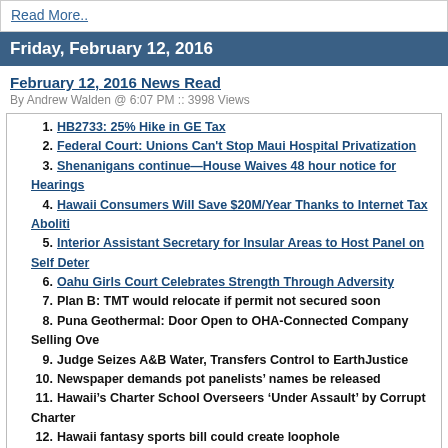Read More..
Friday, February 12, 2016
February 12, 2016 News Read
By Andrew Walden @ 6:07 PM :: 3998 Views
1. HB2733: 25% Hike in GE Tax
2. Federal Court: Unions Can't Stop Maui Hospital Privatization
3. Shenanigans continue—House Waives 48 hour notice for Hearings
4. Hawaii Consumers Will Save $20M/Year Thanks to Internet Tax Aboliti...
5. Interior Assistant Secretary for Insular Areas to Host Panel on Self Deter...
6. Oahu Girls Court Celebrates Strength Through Adversity
7. Plan B: TMT would relocate if permit not secured soon
8. Puna Geothermal: Door Open to OHA-Connected Company Selling Ove...
9. Judge Seizes A&B Water, Transfers Control to EarthJustice
10. Newspaper demands pot panelists’ names be released
11. Hawaii’s Charter School Overseers ‘Under Assault’ by Corrupt Charter...
12. Hawaii fantasy sports bill could create loophole
13. Only 53% of Hawaii Visitors Stay in Hotel
14. Mililani: Homeless Invade Preschool, Demand Service
15. Police transparency gaining momentum as political issue
16. Soft on Crime: Legal Aid Society Among Hawaii’s Top Lobbyists
17. Legislators Consider Releasing 200 Criminals on to Streets
18. Senators grill HPD over claims department meets 'gold standard' for op...